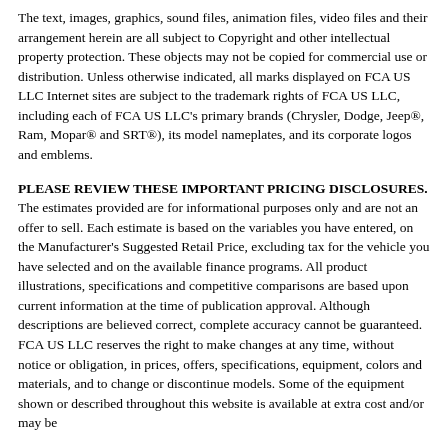The text, images, graphics, sound files, animation files, video files and their arrangement herein are all subject to Copyright and other intellectual property protection. These objects may not be copied for commercial use or distribution. Unless otherwise indicated, all marks displayed on FCA US LLC Internet sites are subject to the trademark rights of FCA US LLC, including each of FCA US LLC's primary brands (Chrysler, Dodge, Jeep®, Ram, Mopar® and SRT®), its model nameplates, and its corporate logos and emblems.
PLEASE REVIEW THESE IMPORTANT PRICING DISCLOSURES. The estimates provided are for informational purposes only and are not an offer to sell. Each estimate is based on the variables you have entered, on the Manufacturer's Suggested Retail Price, excluding tax for the vehicle you have selected and on the available finance programs. All product illustrations, specifications and competitive comparisons are based upon current information at the time of publication approval. Although descriptions are believed correct, complete accuracy cannot be guaranteed. FCA US LLC reserves the right to make changes at any time, without notice or obligation, in prices, offers, specifications, equipment, colors and materials, and to change or discontinue models. Some of the equipment shown or described throughout this website is available at extra cost and/or may be